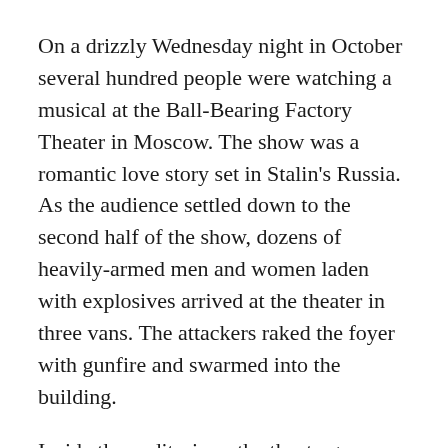On a drizzly Wednesday night in October several hundred people were watching a musical at the Ball-Bearing Factory Theater in Moscow. The show was a romantic love story set in Stalin's Russia. As the audience settled down to the second half of the show, dozens of heavily-armed men and women laden with explosives arrived at the theater in three vans. The attackers raked the foyer with gunfire and swarmed into the building.
Inside the auditorium, the theatergoers were watching the show, and heard nothing. That night's performance was recorded, as was usual, by the theater's video camera. As gunmen sealed off the auditorium, the sound and the video were cut. The audience heard the terrorist leader Movsar Barayev announce that if the Russian army did not get out of Chechnya, he would command his followers to blow up the theater and